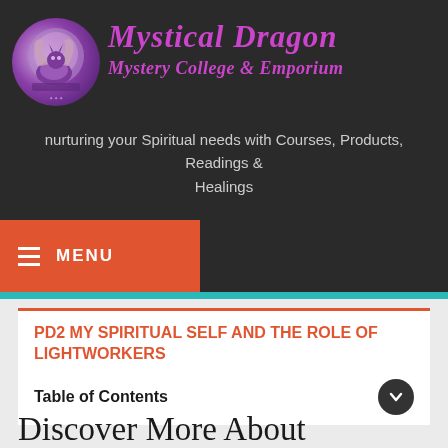[Figure (logo): Mystical Dragon logo - circular image with a dragon figure on purple/violet background]
Mystical Dragon Mystery College & Emporium
nurturing your Spiritual needs with Courses, Products, Readings & Healings
MENU
PD2 MY SPIRITUAL SELF AND THE ROLE OF LIGHTWORKERS
Table of Contents
Discover More About